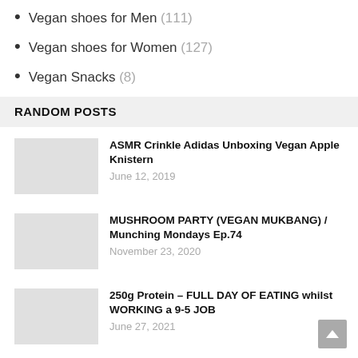Vegan shoes for Men (111)
Vegan shoes for Women (127)
Vegan Snacks (8)
RANDOM POSTS
ASMR Crinkle Adidas Unboxing Vegan Apple Knistern
June 12, 2019
MUSHROOM PARTY (VEGAN MUKBANG) / Munching Mondays Ep.74
November 23, 2020
250g Protein – FULL DAY OF EATING whilst WORKING a 9-5 JOB
June 27, 2021